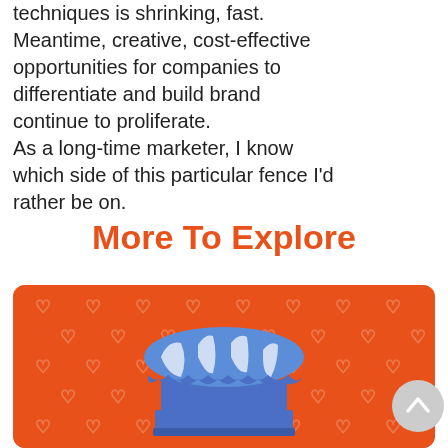techniques is shrinking, fast. Meantime, creative, cost-effective opportunities for companies to differentiate and build brand continue to proliferate. As a long-time marketer, I know which side of this particular fence I'd rather be on.
More To Explore
[Figure (illustration): Orange card with repeating watermark icons and a blue-and-white striped market stall / awning illustration centered on the card]